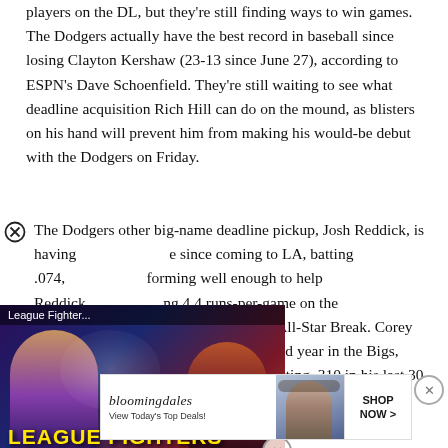players on the DL, but they're still finding ways to win games. The Dodgers actually have the best record in baseball since losing Clayton Kershaw (23-13 since June 27), according to ESPN's Dave Schoenfield. They're still waiting to see what deadline acquisition Rich Hill can do on the mound, as blisters on his hand will prevent him from making his would-be debut with the Dodgers on Friday.
The Dodgers other big-name deadline pickup, Josh Reddick, is having [text continues behind video overlay] e since coming to LA, batting .074, [continues] orming well enough to help Reddick [continues] ng 4.4 runs-per-game on the year, [continues] ht from that since the All-Star Break. Corey Seager continues to have a special second year in the Bigs, leading the team with 21 homers and batting .310 in his last 30 games.
[Figure (screenshot): Video overlay showing a mobile game ad for 'League Fighters in Project L' with animated characters and a play button. Yellow bold text at the bottom reads 'LEAGUE FIGHTERS IN PROJECT L' with a diamond icon.]
[Figure (screenshot): Bloomingdale's advertisement banner: logo text 'bloomingdales' in italic serif, subtitle 'View Today's Top Deals!', a photo of a woman in a hat, and a 'SHOP NOW >' button.]
So long as the Dodgers don't let the Yasiel Puig situation...